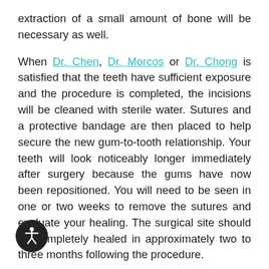extraction of a small amount of bone will be necessary as well.

When Dr. Chen, Dr. Morcos or Dr. Chong is satisfied that the teeth have sufficient exposure and the procedure is completed, the incisions will be cleaned with sterile water. Sutures and a protective bandage are then placed to help secure the new gum-to-tooth relationship. Your teeth will look noticeably longer immediately after surgery because the gums have now been repositioned. You will need to be seen in one or two weeks to remove the sutures and evaluate your healing. The surgical site should be completely healed in approximately two to three months following the procedure.